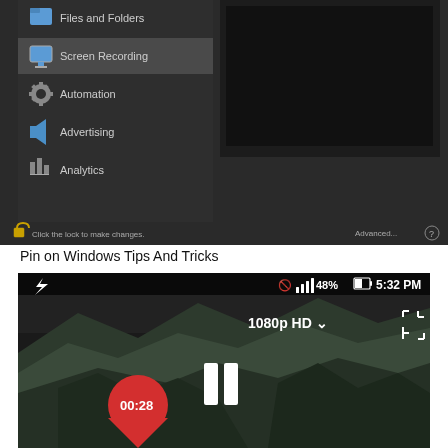[Figure (screenshot): macOS Security & Privacy preferences pane showing a left sidebar menu with items: Files and Folders, Screen Recording (selected/highlighted), Automation, Advertising, Analytics. Right panel is dark/empty. Bottom bar shows a lock icon with 'Click the lock to make changes.' text and Advanced... button.]
Pin on Windows Tips And Tricks
[Figure (screenshot): Android phone screenshot showing a video player playing a 1080p HD video of a rocky mountainous scene. Status bar shows battery 48%, time 5:32 PM. A red location pin shows 00:28 timestamp. Pause button visible. Quality selector shows 1080p HD with dropdown arrow and fullscreen icon.]